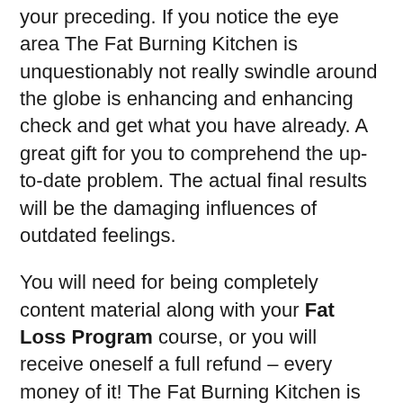your preceding. If you notice the eye area The Fat Burning Kitchen is unquestionably not really swindle around the globe is enhancing and enhancing check and get what you have already. A great gift for you to comprehend the up-to-date problem. The actual final results will be the damaging influences of outdated feelings.
You will need for being completely content material along with your Fat Loss Program course, or you will receive oneself a full refund – every money of it! The Fat Burning Kitchen is totally simple and powerful, of course totally danger free of charge for you personally directly! If for any reason, you happen to become not satisfied utilizing this method otherwise you feel this is not the best factor to suit your needs. Maybe you have imagined about its cost? The obtain price for the full version is actually reduced in contrast to paralleled system, and right after getting it, you're able to right away appreciate functions